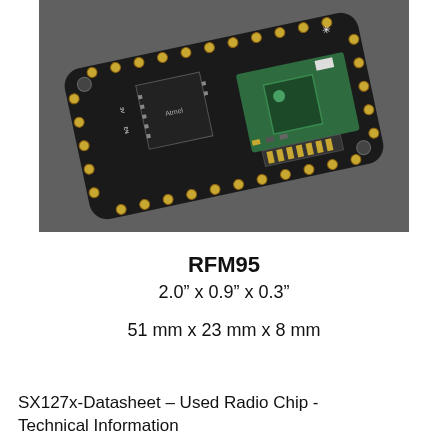[Figure (photo): Photograph of an RFM95 radio module PCB board (Adafruit Feather with RFM95 LoRa radio) on a dark gray background, shown at an angle. The board is black with gold-colored through-hole pads along the edges and a green RF module section with an IC chip.]
RFM95
2.0” x 0.9” x 0.3”
51 mm x 23 mm x 8 mm
SX127x-Datasheet – Used Radio Chip - Technical Information